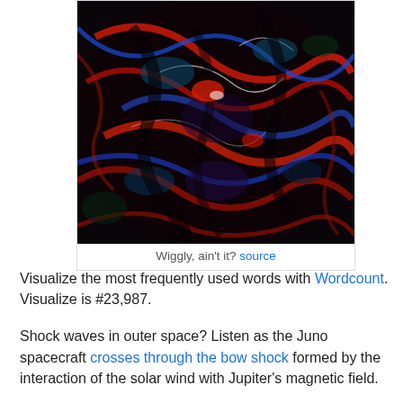[Figure (photo): Abstract swirling image with dark background and vivid red, blue, green, and white fluid-like streaks resembling plasma or magnetic field visualizations]
Wiggly, ain't it? source
Visualize the most frequently used words with Wordcount. Visualize is #23,987.
Shock waves in outer space? Listen as the Juno spacecraft crosses through the bow shock formed by the interaction of the solar wind with Jupiter's magnetic field.